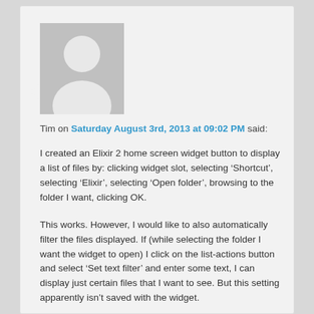[Figure (illustration): Grey avatar placeholder image showing a silhouette of a person]
Tim on Saturday August 3rd, 2013 at 09:02 PM said:
I created an Elixir 2 home screen widget button to display a list of files by: clicking widget slot, selecting ‘Shortcut’, selecting ‘Elixir’, selecting ‘Open folder’, browsing to the folder I want, clicking OK.
This works. However, I would like to also automatically filter the files displayed. If (while selecting the folder I want the widget to open) I click on the list-actions button and select ‘Set text filter’ and enter some text, I can display just certain files that I want to see. But this setting apparently isn’t saved with the widget.
Could this be added? Or is there some way to do